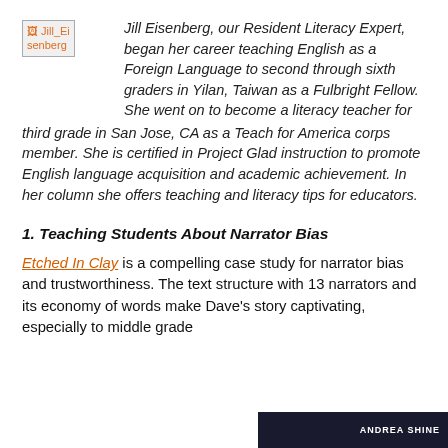[Figure (photo): Placeholder image for Jill Eisenberg photo]
Jill Eisenberg, our Resident Literacy Expert, began her career teaching English as a Foreign Language to second through sixth graders in Yilan, Taiwan as a Fulbright Fellow. She went on to become a literacy teacher for third grade in San Jose, CA as a Teach for America corps member. She is certified in Project Glad instruction to promote English language acquisition and academic achievement. In her column she offers teaching and literacy tips for educators.
1. Teaching Students About Narrator Bias
Etched In Clay is a compelling case study for narrator bias and trustworthiness. The text structure with 13 narrators and its economy of words make Dave's story captivating, especially to middle grade